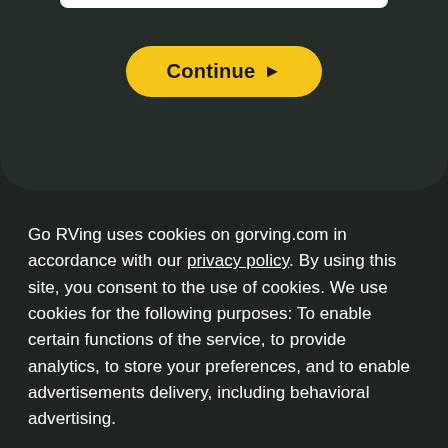[Figure (screenshot): Mobile app screen top portion showing a 'Continue ▶' yellow button on a dark background with a white bar at the top suggesting a phone notch/status bar area]
Go RVing uses cookies on gorving.com in accordance with our privacy policy. By using this site, you consent to the use of cookies. We use cookies for the following purposes: To enable certain functions of the service, to provide analytics, to store your preferences, and to enable advertisements delivery, including behavioral advertising.
Got It!